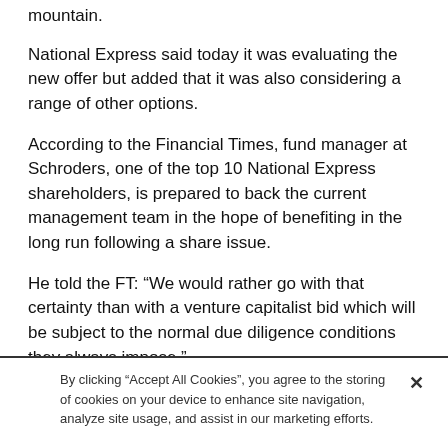mountain.
National Express said today it was evaluating the new offer but added that it was also considering a range of other options.
According to the Financial Times, fund manager at Schroders, one of the top 10 National Express shareholders, is prepared to back the current management team in the hope of benefiting in the long run following a share issue.
He told the FT: “We would rather go with that certainty than with a venture capitalist bid which will be subject to the normal due diligence conditions they always impose.”
By clicking “Accept All Cookies”, you agree to the storing of cookies on your device to enhance site navigation, analyze site usage, and assist in our marketing efforts.